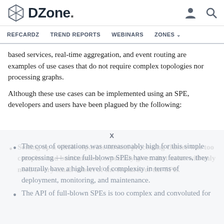DZone. REFCARDZ TREND REPORTS WEBINARS ZONES
based services, real-time aggregation, and event routing are examples of use cases that do not require complex topologies nor processing graphs.
Although these use cases can be implemented using an SPE, developers and users have been plagued by the following:
Setting up a whole separate stream processing cluster was too complex and burdensome, especially given that users will only need a very small subset of the features of the SPE.
The cost of operations was unreasonably high for this simple processing — since full-blown SPEs have many features, they naturally have a high level of complexity in terms of deployment, monitoring, and maintenance.
The API of full-blown SPEs is too complex and convoluted for